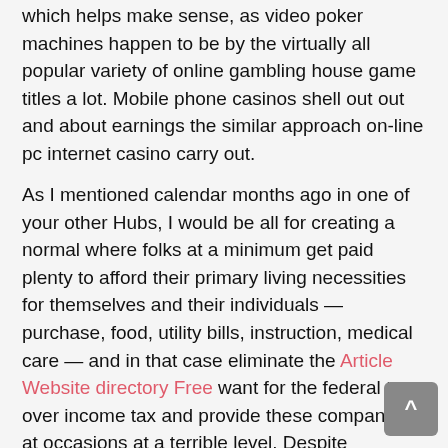which helps make sense, as video poker machines happen to be by the virtually all popular variety of online gambling house game titles a lot. Mobile phone casinos shell out out and about earnings the similar approach on-line pc internet casino carry out.
As I mentioned calendar months ago in one of your other Hubs, I would be all for creating a normal where folks at a minimum get paid plenty to afford their primary living necessities for themselves and their individuals — purchase, food, utility bills, instruction, medical care — and in that case eliminate the Article Website directory Free want for the federal to over income tax and provide these companies, at occasions at a terrible level. Despite promising on the marketing campaign path that he / she would be occupied to travel golf instruction too, Trump has spent nearly as far period playing in 4 a long time as Obama did in 8. And at a Trump hotel often, which pours income tax payers' income into his individual organization, predicted at around $138,000,000, consequently considerably (discover below for extra specifics).
Get together food with a fabulous american get together design may well include salsa and poker chips, prairie poultry wings (sizzling wings), southwestern meatballs, hacienda plunge,